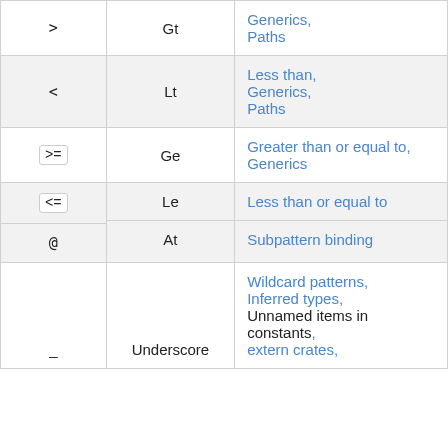| Symbol | Name | Description |
| --- | --- | --- |
| > | Gt | Generics, Paths |
| < | Lt | Less than, Generics, Paths |
| >= | Ge | Greater than or equal to, Generics |
| <= | Le | Less than or equal to |
| @ | At | Subpattern binding |
| _ | Underscore | Wildcard patterns, Inferred types, Unnamed items in constants, extern crates, |